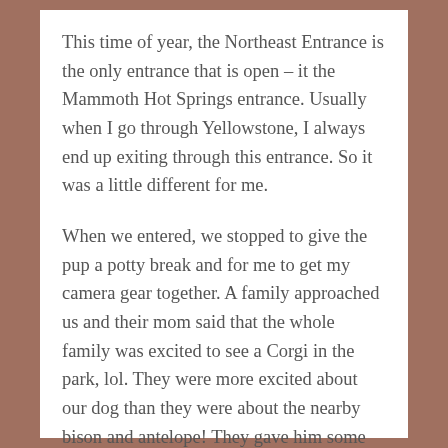This time of year, the Northeast Entrance is the only entrance that is open – it the Mammoth Hot Springs entrance. Usually when I go through Yellowstone, I always end up exiting through this entrance. So it was a little different for me.
When we entered, we stopped to give the pup a potty break and for me to get my camera gear together. A family approached us and their mom said that the whole family was excited to see a Corgi in the park, lol. They were more excited about our dog than they were about the nearby bison and antelope! They gave him some pets, which he always enjoys, and took a couple of pictures with him.